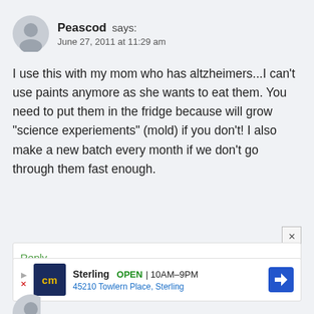Peascod says:
June 27, 2011 at 11:29 am
I use this with my mom who has altzheimers...I can't use paints anymore as she wants to eat them. You need to put them in the fridge because will grow "science experiements" (mold) if you don't! I also make a new batch every month if we don't go through them fast enough.
Reply
[Figure (infographic): Advertisement banner: cm logo, Sterling OPEN 10AM-9PM, 45210 Towlern Place, Sterling, with navigation arrow icon]